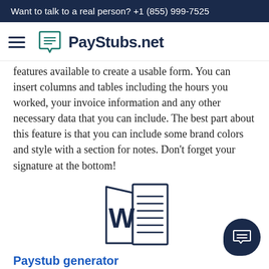Want to talk to a real person? +1 (855) 999-7525
[Figure (logo): PayStubs.net navigation bar with hamburger menu icon and chat bubble logo]
features available to create a usable form. You can insert columns and tables including the hours you worked, your invoice information and any other necessary data that you can include. The best part about this feature is that you can include some brand colors and style with a section for notes. Don't forget your signature at the bottom!
[Figure (illustration): Microsoft Word document icon with W letter and horizontal lines representing a document]
Paystub generator
Let's talk about the paycheck stub generator. Using